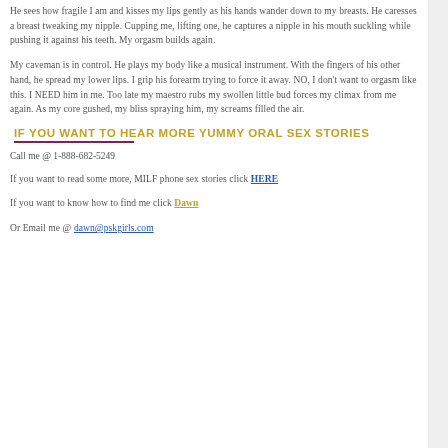He sees how fragile I am and kisses my lips gently as his hands wander down to my breasts. He caresses a breast tweaking my nipple. Cupping me, lifting one, he captures a nipple in his mouth suckling while pushing it against his teeth. My orgasm builds again.
My caveman is in control. He plays my body like a musical instrument. With the fingers of his other hand, he spread my lower lips. I grip his forearm trying to force it away. NO, I don't want to orgasm like this. I NEED him in me. Too late my maestro rubs my swollen little bud forces my climax from me again. As my core gushed, my bliss spraying him, my screams filled the air.
IF YOU WANT TO HEAR MORE YUMMY ORAL SEX STORIES
Call me @ 1-888-682-5249
If you want to read some more, MILF phone sex stories click HERE
If you want to know how to find me click Dawn
Or Email me @ dawn@pskgirls.com